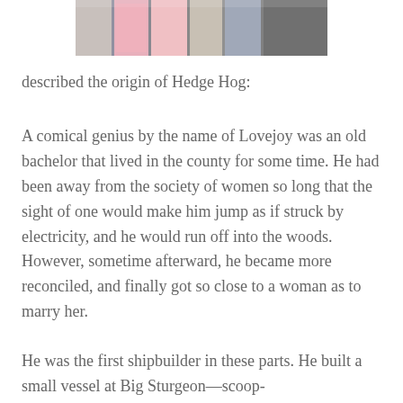[Figure (photo): A strip photo showing several books standing upright on a surface, with colorful spines visible including pink, blue/grey, and dark covers.]
described the origin of Hedge Hog:
A comical genius by the name of Lovejoy was an old bachelor that lived in the county for some time. He had been away from the society of women so long that the sight of one would make him jump as if struck by electricity, and he would run off into the woods. However, sometime afterward, he became more reconciled, and finally got so close to a woman as to marry her.
He was the first shipbuilder in these parts. He built a small vessel at Big Sturgeon—scoop-